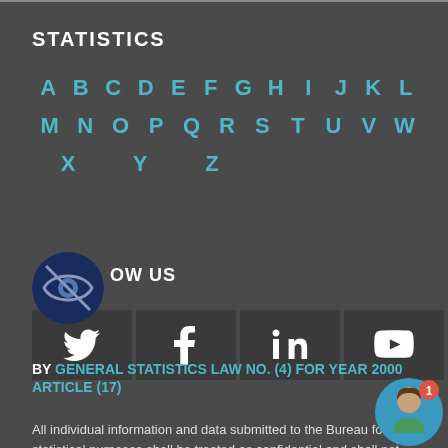STATISTICS
A B C D E F G H I J K L M N O P Q R S T U V W X Y Z
FOLLOW US
BY GENERAL STATISTICS LAW NO. (4) FOR YEAR 2000 ARTICLE (17)
All individual information and data submitted to the Bureau for statistical purposes shall be treated as confidential and shall not be divulged, in whole or in part